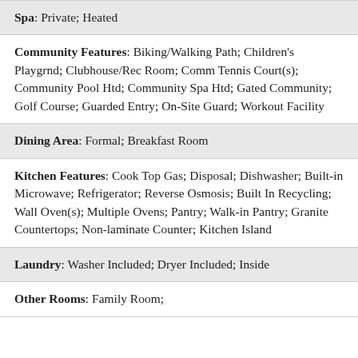Spa: Private; Heated
Community Features: Biking/Walking Path; Children's Playgrnd; Clubhouse/Rec Room; Comm Tennis Court(s); Community Pool Htd; Community Spa Htd; Gated Community; Golf Course; Guarded Entry; On-Site Guard; Workout Facility
Dining Area: Formal; Breakfast Room
Kitchen Features: Cook Top Gas; Disposal; Dishwasher; Built-in Microwave; Refrigerator; Reverse Osmosis; Built In Recycling; Wall Oven(s); Multiple Ovens; Pantry; Walk-in Pantry; Granite Countertops; Non-laminate Counter; Kitchen Island
Laundry: Washer Included; Dryer Included; Inside
Other Rooms: Family Room;